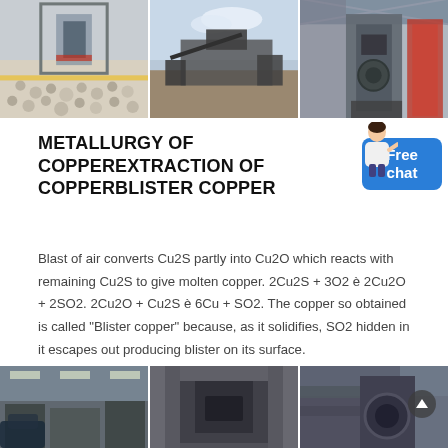[Figure (photo): Three industrial/mining equipment photos side by side: (1) industrial machinery with metal pellets/aggregate, (2) outdoor mining/construction equipment, (3) large vertical industrial machine in warehouse]
METALLURGY OF COPPEREXTRACTION OF COPPERBLISTER COPPER
Blast of air converts Cu2S partly into Cu2O which reacts with remaining Cu2S to give molten copper. 2Cu2S + 3O2 è 2Cu2O + 2SO2. 2Cu2O + Cu2S è 6Cu + SO2. The copper so obtained is called "Blister copper" because, as it solidifies, SO2 hidden in it escapes out producing blister on its surface.
[Figure (photo): Three industrial factory/manufacturing photos side by side showing heavy equipment and machinery]